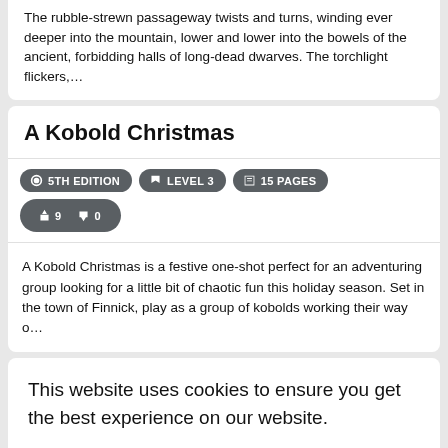The rubble-strewn passageway twists and turns, winding ever deeper into the mountain, lower and lower into the bowels of the ancient, forbidding halls of long-dead dwarves. The torchlight flickers,...
A Kobold Christmas
5TH EDITION  LEVEL 3  15 PAGES  👍 9 👎 0
A Kobold Christmas is a festive one-shot perfect for an adventuring group looking for a little bit of chaotic fun this holiday season. Set in the town of Finnick, play as a group of kobolds working their way o...
This website uses cookies to ensure you get the best experience on our website.
Learn more
Got it!
march to retrieve it. Dare the heroes enter this ancient place, and wil...